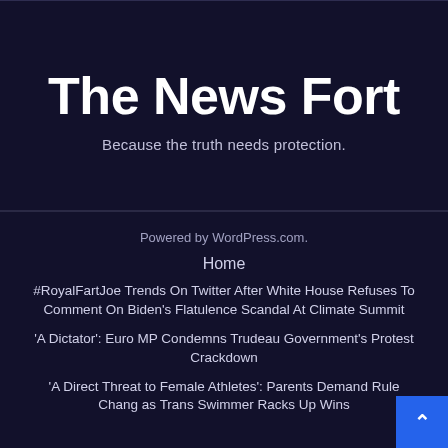The News Fort
Because the truth needs protection.
Powered by WordPress.com.
Home
#RoyalFartJoe Trends On Twitter After White House Refuses To Comment On Biden's Flatulence Scandal At Climate Summit
'A Dictator': Euro MP Condemns Trudeau Government's Protest Crackdown
'A Direct Threat to Female Athletes': Parents Demand Rule Changes as Trans Swimmer Racks Up Wins